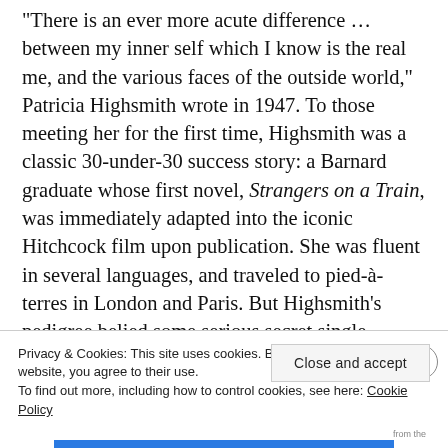"There is an ever more acute difference … between my inner self which I know is the real me, and the various faces of the outside world," Patricia Highsmith wrote in 1947. To those meeting her for the first time, Highsmith was a classic 30-under-30 success story: a Barnard graduate whose first novel, Strangers on a Train, was immediately adapted into the iconic Hitchcock film upon publication. She was fluent in several languages, and traveled to pied-à-terres in London and Paris. But Highsmith's pedigree belied some serious secret single behavior of her own … especially where food was
Privacy & Cookies: This site uses cookies. By continuing to use this website, you agree to their use.
To find out more, including how to control cookies, see here: Cookie Policy
Close and accept